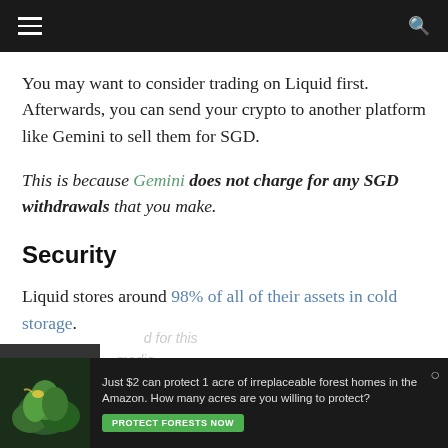Navigation bar with hamburger menu and search icon
You may want to consider trading on Liquid first. Afterwards, you can send your crypto to another platform like Gemini to sell them for SGD.
This is because Gemini does not charge for any SGD withdrawals that you make.
Security
Liquid stores around 98% of all of their assets in cold storage.
Meanwhile, the remaining 2% of crypto is stored in warm wallets, which is
[Figure (other): Advertisement banner: Just $2 can protect 1 acre of irreplaceable forest homes in the Amazon. How many acres are you willing to protect? PROTECT FORESTS NOW button]